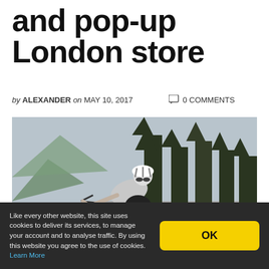and pop-up London store
by ALEXANDER on MAY 10, 2017   0 COMMENTS
[Figure (photo): Cyclist in grey jersey and black shorts riding a road bike on a mountain road, with tall pine trees and mountains in the background.]
Like every other website, this site uses cookies to deliver its services, to manage your account and to analyse traffic. By using this website you agree to the use of cookies. Learn More
OK